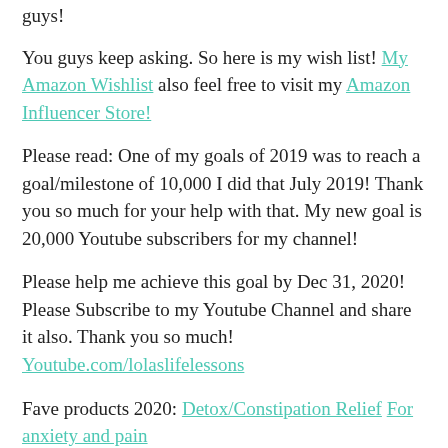guys!
You guys keep asking. So here is my wish list! My Amazon Wishlist also feel free to visit my Amazon Influencer Store!
Please read: One of my goals of 2019 was to reach a goal/milestone of 10,000 I did that July 2019! Thank you so much for your help with that. My new goal is 20,000 Youtube subscribers for my channel!
Please help me achieve this goal by Dec 31, 2020! Please Subscribe to my Youtube Channel and share it also. Thank you so much! Youtube.com/lolaslifelessons
Fave products 2020: Detox/Constipation Relief For anxiety and pain
Gray Hair Rescind-Say good bye to gray hair!
PatchMd Multivitamins-No more swallowing pills